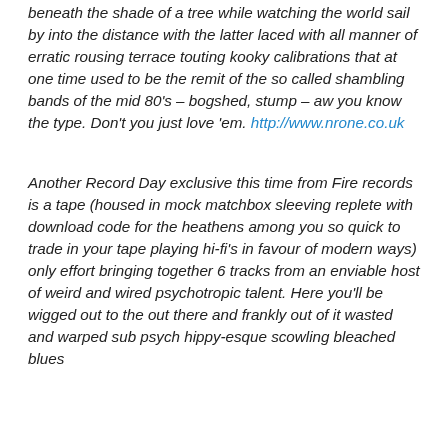beneath the shade of a tree while watching the world sail by into the distance with the latter laced with all manner of erratic rousing terrace touting kooky calibrations that at one time used to be the remit of the so called shambling bands of the mid 80's – bogshed, stump – aw you know the type. Don't you just love 'em. http://www.nrone.co.uk
Another Record Day exclusive this time from Fire records is a tape (housed in mock matchbox sleeving replete with download code for the heathens among you so quick to trade in your tape playing hi-fi's in favour of modern ways) only effort bringing together 6 tracks from an enviable host of weird and wired psychotropic talent. Here you'll be wigged out to the out there and frankly out of it wasted and warped sub psych hippy-esque scowling bleached blues